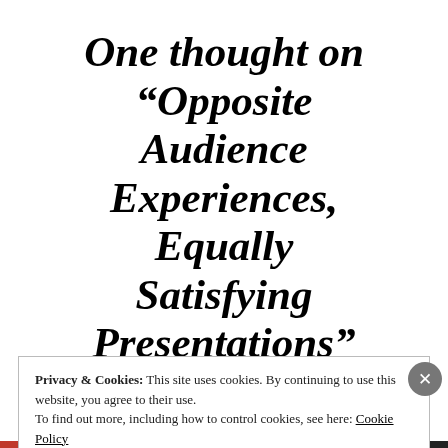One thought on “Opposite Audience Experiences, Equally Satisfying Presentations”
Privacy & Cookies: This site uses cookies. By continuing to use this website, you agree to their use.
To find out more, including how to control cookies, see here: Cookie Policy